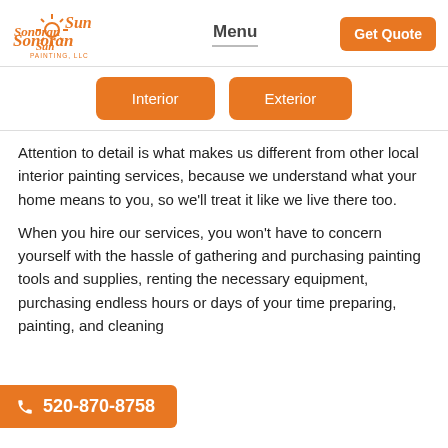[Figure (logo): Sonoran Sun Painting LLC logo in orange script with sun graphic]
Menu   Get Quote
Interior
Exterior
Attention to detail is what makes us different from other local interior painting services, because we understand what your home means to you, so we'll treat it like we live there too.
When you hire our services, you won't have to concern yourself with the hassle of gathering and purchasing painting tools and supplies, renting the necessary equipment, purchasing endless hours or days of your time preparing, painting, and cleaning
520-870-8758